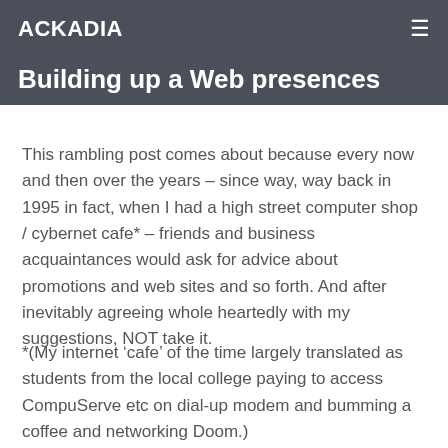ACKADIA
Building up a Web presences
This rambling post comes about because every now and then over the years – since way, way back in 1995 in fact, when I had a high street computer shop / cybernet cafe* – friends and business acquaintances would ask for advice about promotions and web sites and so forth. And after inevitably agreeing whole heartedly with my suggestions, NOT take it.
*(My internet ‘cafe’ of the time largely translated as students from the local college paying to access CompuServe etc on dial-up modem and bumming a coffee and networking Doom.)